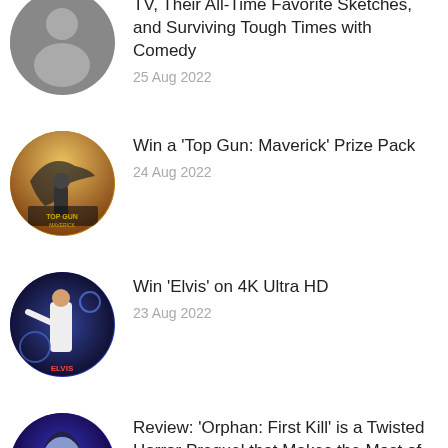TV, Their All-Time Favorite Sketches, and Surviving Tough Times with Comedy — 25 Aug 2022
Win a 'Top Gun: Maverick' Prize Pack — 24 Aug 2022
Win 'Elvis' on 4K Ultra HD — 23 Aug 2022
Review: 'Orphan: First Kill' is a Twisted Horror Prequel that Makes the Most of Its Limited...